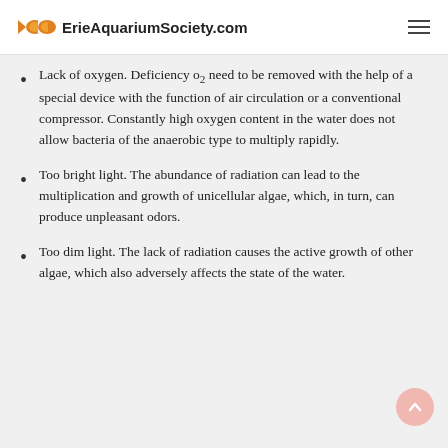ErieAquariumSociety.com
Lack of oxygen. Deficiency O2 need to be removed with the help of a special device with the function of air circulation or a conventional compressor. Constantly high oxygen content in the water does not allow bacteria of the anaerobic type to multiply rapidly.
Too bright light. The abundance of radiation can lead to the multiplication and growth of unicellular algae, which, in turn, can produce unpleasant odors.
Too dim light. The lack of radiation causes the active growth of other algae, which also adversely affects the state of the water.